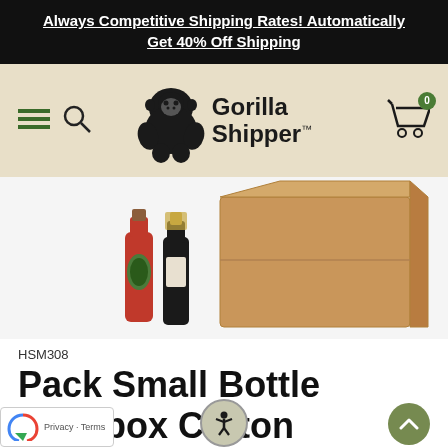Always Competitive Shipping Rates! Automatically Get 40% Off Shipping
[Figure (logo): Gorilla Shipper logo with gorilla icon and navigation bar including hamburger menu, search icon, and cart icon with badge showing 0]
[Figure (photo): Product photo showing two bottles (beer and champagne) next to a cardboard shipping box on white background]
HSM308
Pack Small Bottle Hexabox Carton